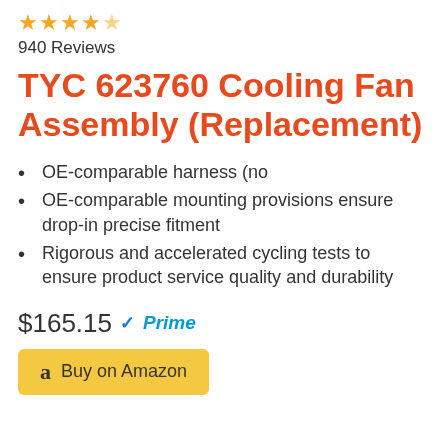[Figure (other): 4 star rating stars (golden/orange colored)]
940 Reviews
TYC 623760 Cooling Fan Assembly (Replacement)
OE-comparable harness (no
OE-comparable mounting provisions ensure drop-in precise fitment
Rigorous and accelerated cycling tests to ensure product service quality and durability
$165.15 ✓Prime
a  Buy on Amazon